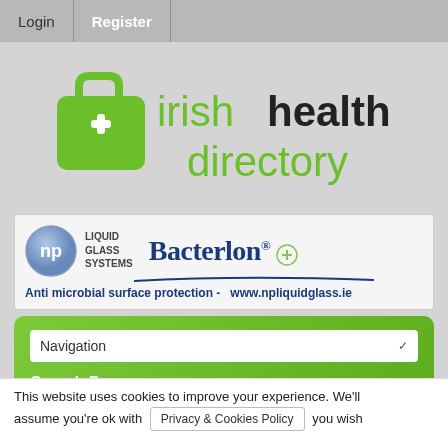Login   Register
[Figure (logo): Irish Health Directory logo: green medical bag icon with white plus sign, and text 'irish' (green) 'health' (black) 'directory' (green)]
[Figure (logo): NP Liquid Glass Systems / Bacterlon advertisement. Blue NP logo badge, 'LIQUID GLASS SYSTEMS' text, 'Bacterlon®' brand name in navy/teal, 'Anti microbial surface protection - www.npliquidglass.ie' in bold dark blue]
Navigation
Search For
This website uses cookies to improve your experience. We'll assume you're ok with
Privacy & Cookies Policy
you wish